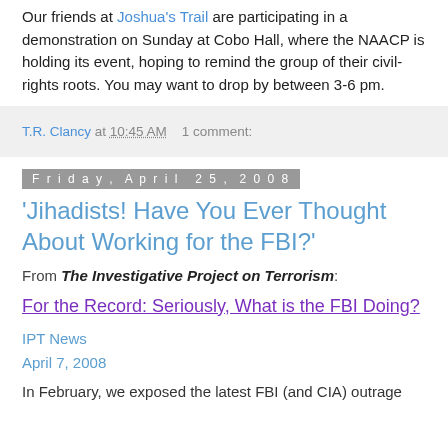Our friends at Joshua's Trail are participating in a demonstration on Sunday at Cobo Hall, where the NAACP is holding its event, hoping to remind the group of their civil-rights roots. You may want to drop by between 3-6 pm.
T.R. Clancy at 10:45 AM   1 comment:
Friday, April 25, 2008
'Jihadists! Have You Ever Thought About Working for the FBI?'
From The Investigative Project on Terrorism:
For the Record: Seriously, What is the FBI Doing?
IPT News
April 7, 2008
In February, we exposed the latest FBI (and CIA) outrage